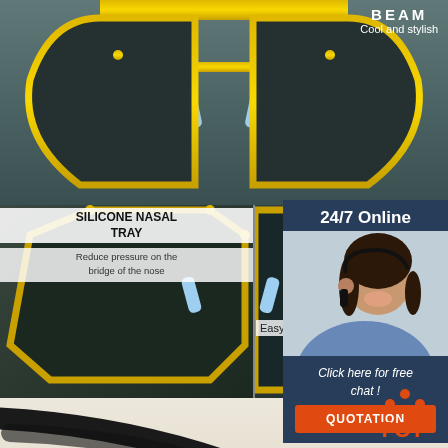BEAM
Cool and stylish
[Figure (photo): Close-up of sunglasses gold metal beam/bridge with dark green polarized lenses, white background at top]
[Figure (photo): Close-up of left sunglasses lens showing gold hexagonal frame, silicone nasal pad in light blue]
[Figure (photo): Close-up of right sunglasses lens showing gold frame and light blue nasal nose pad]
SILICONE NASAL TRAY
Reduce pressure on the bridge of the nose
Easy op
24/7 Online
[Figure (photo): Customer service representative woman with headset smiling]
Click here for free chat !
QUOTATION
[Figure (photo): Black metal temple arms/legs of sunglasses on light beige background]
MIRROR LEG
Increase wearing firmness
TOP